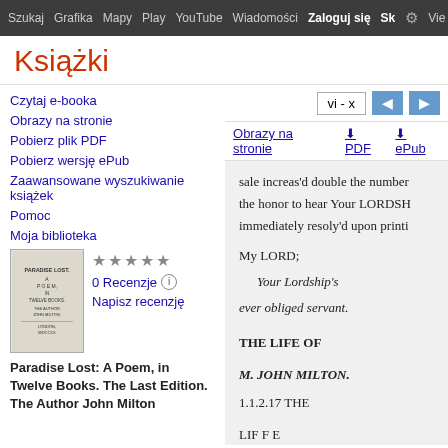Szukaj Grafika Mapy Play YouTube Wiadomości Zaloguj się ⚙ Vie
Książki
Czytaj e-booka
Obrazy na stronie
Pobierz plik PDF
Pobierz wersję ePub
Zaawansowane wyszukiwanie książek
Pomoc
Moja biblioteka
[Figure (illustration): Thumbnail of book cover: Paradise Lost]
★★★★★ 0 Recenzje ⓘ Napisz recenzję
Paradise Lost: A Poem, in Twelve Books. The Last Edition. The Author John Milton
vi - x
Obrazy na stronie ⬇ PDF ⬇ ePub
sale increas'd double the number the honor to hear Your LORDSH immediately resoly'd upon printi
My LORD;
Your Lordship's
ever obliged servant.
THE LIFE OF
M. JOHN MILTON.
1.1.2.17 THE
LIF F E